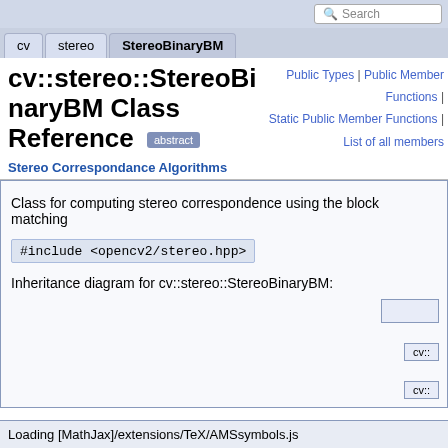Search
cv | stereo | StereoBinaryBM
Public Types | Public Member Functions | Static Public Member Functions | List of all members
cv::stereo::StereoBinaryBM Class Reference  [abstract]
Stereo Correspondance Algorithms
Class for computing stereo correspondence using the block matching
Inheritance diagram for cv::stereo::StereoBinaryBM:
[Figure (other): Inheritance diagram showing class hierarchy boxes for cv::stereo::StereoBinaryBM]
Loading [MathJax]/extensions/TeX/AMSsymbols.js